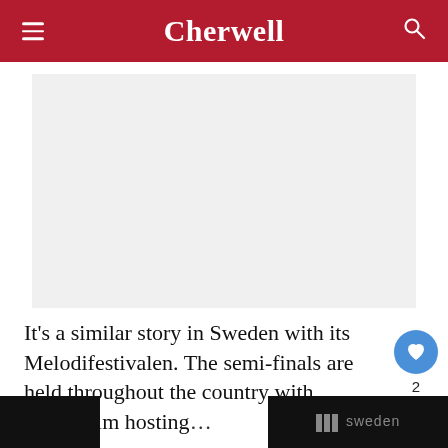Cherwell
[Figure (photo): Blank/placeholder image area with light gray background]
It's a similar story in Sweden with its Melodifestivalen. The semi-finals are held throughout the country with Stockholm hosting th... und...